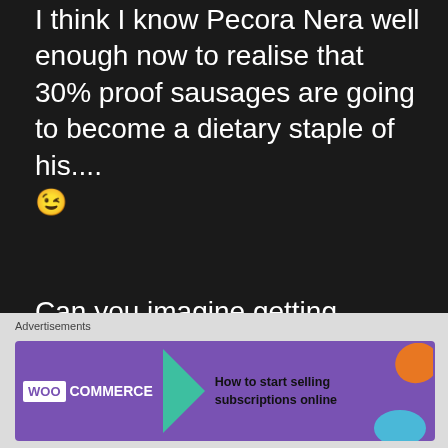I think I know Pecora Nera well enough now to realise that 30% proof sausages are going to become a dietary staple of his.... 😉
Can you imagine getting arrested on the way home from a barbecue lunch for driving under the influence of sausage?
★ Like
DIANE C says:
Advertisements
[Figure (screenshot): WooCommerce advertisement banner: purple background with WooCommerce logo and green arrow, text reads 'How to start selling subscriptions online', with orange and blue decorative blobs]